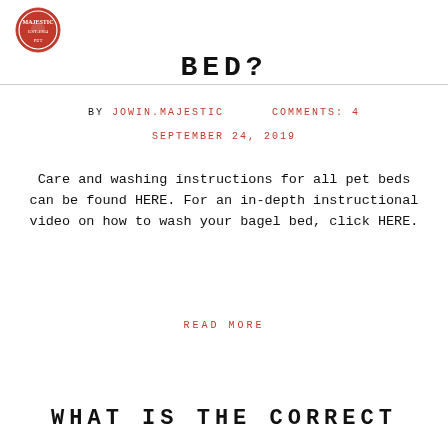[Figure (logo): Majestic pet brand circular logo in red with dog illustration, EST. 1994]
BED?
BY JOWIN.MAJESTIC    COMMENTS: 4
SEPTEMBER 24, 2019
Care and washing instructions for all pet beds can be found HERE. For an in-depth instructional video on how to wash your bagel bed, click HERE.
READ MORE
WHAT IS THE CORRECT